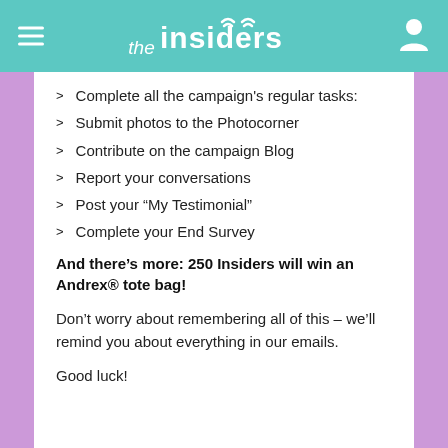the insiders
Complete all the campaign's regular tasks:
Submit photos to the Photocorner
Contribute on the campaign Blog
Report your conversations
Post your "My Testimonial"
Complete your End Survey
And there's more: 250 Insiders will win an Andrex® tote bag!
Don't worry about remembering all of this – we'll remind you about everything in our emails.
Good luck!